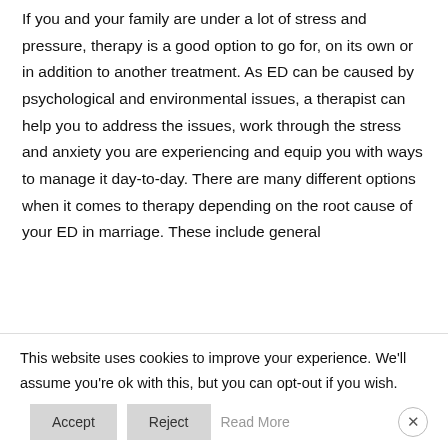If you and your family are under a lot of stress and pressure, therapy is a good option to go for, on its own or in addition to another treatment. As ED can be caused by psychological and environmental issues, a therapist can help you to address the issues, work through the stress and anxiety you are experiencing and equip you with ways to manage it day-to-day. There are many different options when it comes to therapy depending on the root cause of your ED in marriage. These include general
This website uses cookies to improve your experience. We'll assume you're ok with this, but you can opt-out if you wish.